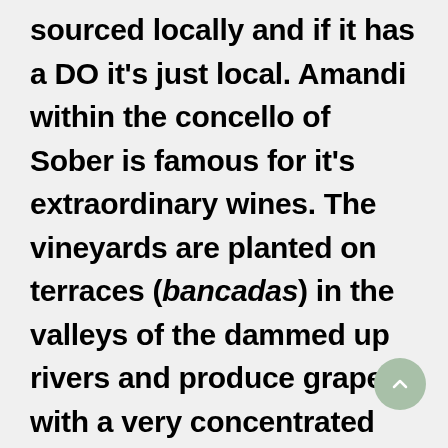sourced locally and if it has a DO it's just local. Amandi within the concello of Sober is famous for it's extraordinary wines. The vineyards are planted on terraces (bancadas) in the valleys of the dammed up rivers and produce grapes with a very concentrated flavour. The terraces are small, nothing is